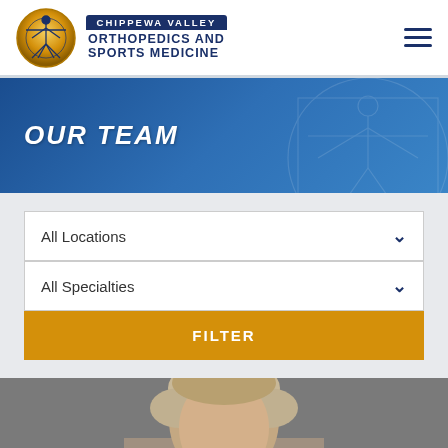[Figure (logo): Chippewa Valley Orthopedics and Sports Medicine logo with circular golden emblem showing Vitruvian man figure]
OUR TEAM
All Locations
All Specialties
FILTER
[Figure (photo): Portrait photo of a middle-aged man with light brown/grey hair against a grey background, partially cropped]